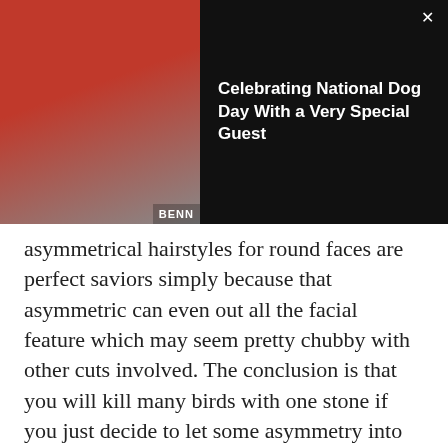[Figure (photo): Dark notification banner with a small dog (Yorkshire Terrier) on a red background on the left, and bold white text on the right. A close (X) button is in the top right corner.]
asymmetrical hairstyles for round faces are perfect saviors simply because that asymmetric can even out all the facial feature which may seem pretty chubby with other cuts involved. The conclusion is that you will kill many birds with one stone if you just decide to let some asymmetry into your life!
[Figure (photo): Partial photo of a woman with blonde hair pulled up, wearing a white top, in a light background. This is the Editor's Choice thumbnail.]
THE EDITOR'S CHOICE
How Often Should You Wash Your Hair, According to Your Hair Type